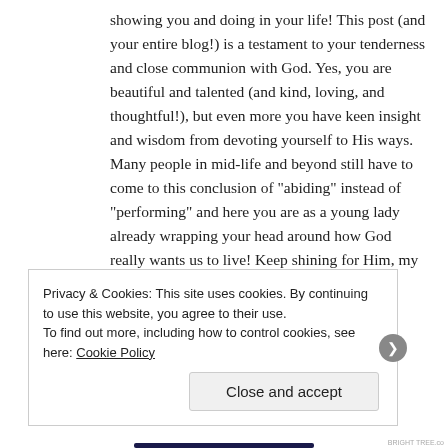showing you and doing in your life! This post (and your entire blog!) is a testament to your tenderness and close communion with God. Yes, you are beautiful and talented (and kind, loving, and thoughtful!), but even more you have keen insight and wisdom from devoting yourself to His ways. Many people in mid-life and beyond still have to come to this conclusion of "abiding" instead of "performing" and here you are as a young lady already wrapping your head around how God really wants us to live! Keep shining for Him, my sister!
Privacy & Cookies: This site uses cookies. By continuing to use this website, you agree to their use.
To find out more, including how to control cookies, see here: Cookie Policy
Close and accept